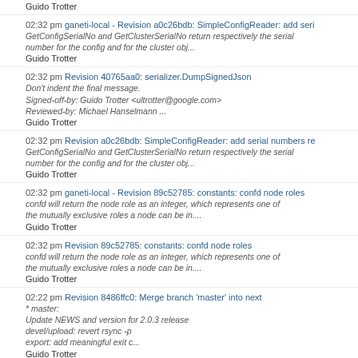Guido Trotter
02:32 pm ganeti-local - Revision a0c26bdb: SimpleConfigReader: add serial numbers re...
GetConfigSerialNo and GetClusterSerialNo return respectively the serial number for the config and for the cluster obj...
Guido Trotter
02:32 pm Revision 40765aa0: serializer.DumpSignedJson
Don't indent the final message.
Signed-off-by: Guido Trotter <ultrotter@google.com>
Reviewed-by: Michael Hanselmann ...
Guido Trotter
02:32 pm Revision a0c26bdb: SimpleConfigReader: add serial numbers re...
GetConfigSerialNo and GetClusterSerialNo return respectively the serial number for the config and for the cluster obj...
Guido Trotter
02:32 pm ganeti-local - Revision 89c52785: constants: confd node roles
confd will return the node role as an integer, which represents one of the mutually exclusive roles a node can be in....
Guido Trotter
02:32 pm Revision 89c52785: constants: confd node roles
confd will return the node role as an integer, which represents one of the mutually exclusive roles a node can be in....
Guido Trotter
02:22 pm Revision 8486ffc0: Merge branch 'master' into next
* master:
Update NEWS and version for 2.0.3 release
devel/upload: revert rsync -p
export: add meaningful exit c...
Guido Trotter